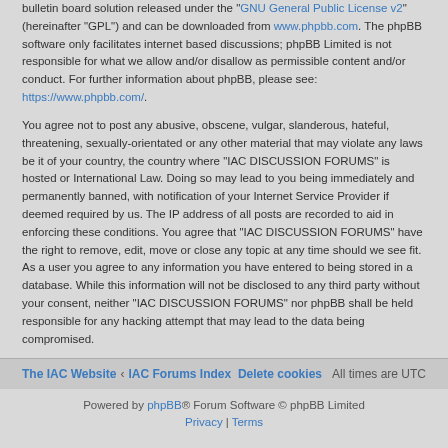bulletin board solution released under the "GNU General Public License v2" (hereinafter "GPL") and can be downloaded from www.phpbb.com. The phpBB software only facilitates internet based discussions; phpBB Limited is not responsible for what we allow and/or disallow as permissible content and/or conduct. For further information about phpBB, please see: https://www.phpbb.com/.
You agree not to post any abusive, obscene, vulgar, slanderous, hateful, threatening, sexually-orientated or any other material that may violate any laws be it of your country, the country where “IAC DISCUSSION FORUMS” is hosted or International Law. Doing so may lead to you being immediately and permanently banned, with notification of your Internet Service Provider if deemed required by us. The IP address of all posts are recorded to aid in enforcing these conditions. You agree that “IAC DISCUSSION FORUMS” have the right to remove, edit, move or close any topic at any time should we see fit. As a user you agree to any information you have entered to being stored in a database. While this information will not be disclosed to any third party without your consent, neither “IAC DISCUSSION FORUMS” nor phpBB shall be held responsible for any hacking attempt that may lead to the data being compromised.
The IAC Website ‹ IAC Forums Index    Delete cookies   All times are UTC
Powered by phpBB® Forum Software © phpBB Limited
Privacy | Terms